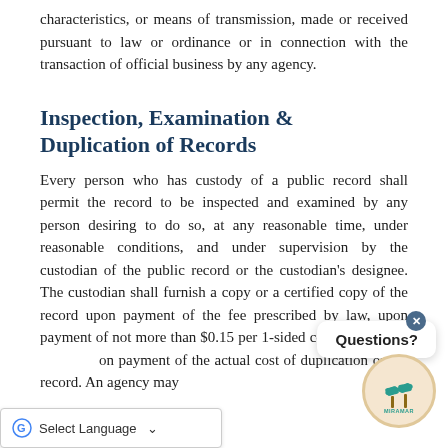characteristics, or means of transmission, made or received pursuant to law or ordinance or in connection with the transaction of official business by any agency.
Inspection, Examination & Duplication of Records
Every person who has custody of a public record shall permit the record to be inspected and examined by any person desiring to do so, at any reasonable time, under reasonable conditions, and under supervision by the custodian of the public record or the custodian's designee. The custodian shall furnish a copy or a certified copy of the record upon payment of the fee prescribed by law, upon payment of not more than $0.15 per 1-sided copy, and for all on payment of the actual cost of duplication of the record. An agency may